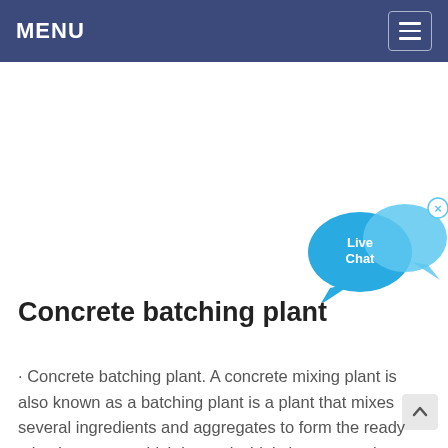MENU
[Figure (illustration): Live Chat widget with two overlapping speech bubbles in blue tones, with 'Live Chat' text and a small close (x) button]
Concrete batching plant
· Concrete batching plant. A concrete mixing plant is also known as a batching plant is a plant that mixes several ingredients and aggregates to form the ready mixed concrete which is used widely in construction.